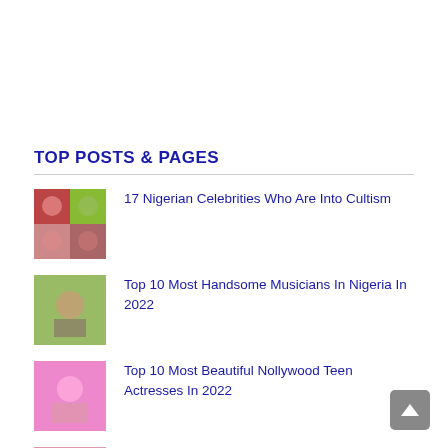TOP POSTS & PAGES
17 Nigerian Celebrities Who Are Into Cultism
Top 10 Most Handsome Musicians In Nigeria In 2022
Top 10 Most Beautiful Nollywood Teen Actresses In 2022
Top 10 Most Beautiful Actresses In Nigeria In 2022
8 African Countries With The Most Curvy Women